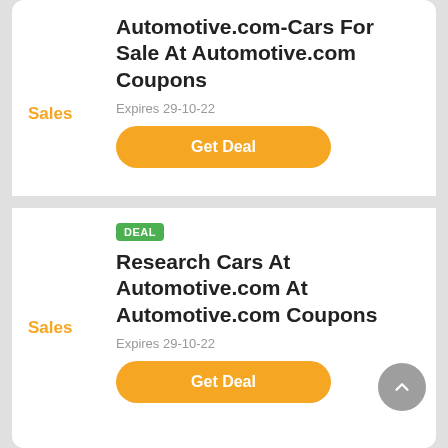Sales
Automotive.com-Cars For Sale At Automotive.com Coupons
Expires 29-10-22
Get Deal
DEAL
Sales
Research Cars At Automotive.com At Automotive.com Coupons
Expires 29-10-22
Get Deal